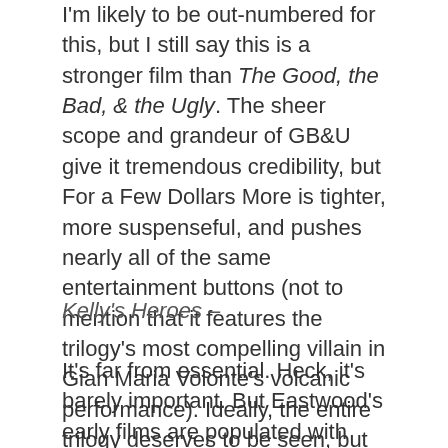I'm likely to be out-numbered for this, but I still say this is a stronger film than The Good, the Bad, & the Ugly. The sheer scope and grandeur of GB&U give it tremendous credibility, but For a Few Dollars More is tighter, more suspenseful, and pushes nearly all of the same entertainment buttons (not to mention that it features the trilogy's most compelling villain in Gian Maria Volonte's volcanic performance). Ideally, the entire trilogy deserves to be seen, but all of the best elements of its power are on prime display in this middle chapter.
Kelly's Heroes –
It's far from essential. Heck, it's barely important. But Eastwood's early films are populated with either westerns, thrillers, or mission films, and the best of that third category in my opinion is Kelly's